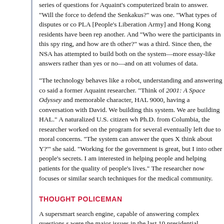series of questions for Aquaint's computerized brain to answer. "Will the force to defend the Senkakus?" was one. "What types of disputes or con PLA [People's Liberation Army] and Hong Kong residents have been rep another. And "Who were the participants in this spy ring, and how are the other?" was a third. Since then, the NSA has attempted to build both on the system—more essay-like answers rather than yes or no—and on att volumes of data.
"The technology behaves like a robot, understanding and answering con said a former Aquaint researcher. "Think of 2001: A Space Odyssey and memorable character, HAL 9000, having a conversation with David. We building this system. We are building HAL." A naturalized U.S. citizen wh Ph.D. from Columbia, the researcher worked on the program for several eventually left due to moral concerns. "The system can answer the ques X think about Y?'" she said. "Working for the government is great, but I into other people's secrets. I am interested in helping people and helping patients for the quality of people's lives." The researcher now focuses or similar search techniques for the medical community.
THOUGHT POLICEMAN
A supersmart search engine, capable of answering complex questions s were the major issues in the last 10 presidential elections?" would be ve public. But that same capability in the hands of an agency like the NSA— secret, often above the law, resistant to oversight, and with access to pe information about Americans—could be a privacy and civil liberties night not forget that the ultimate goal is to transfer research results into opera Aquaint project leader, John Prango, in charge of information exploitatio